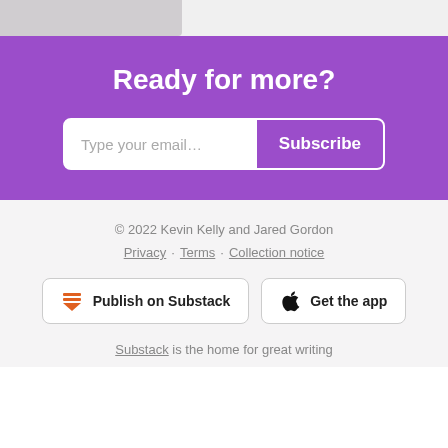Ready for more?
[Figure (screenshot): Email subscription input with 'Type your email...' placeholder and a purple 'Subscribe' button]
© 2022 Kevin Kelly and Jared Gordon
Privacy · Terms · Collection notice
Publish on Substack
Get the app
Substack is the home for great writing